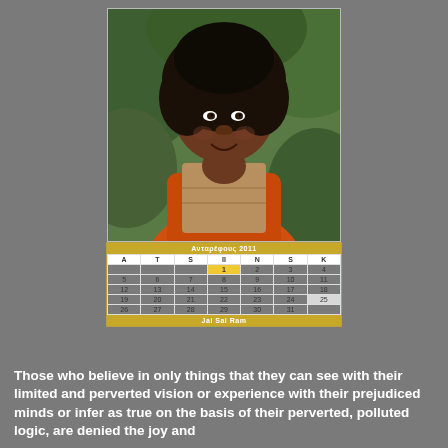[Figure (photo): Portrait photo of Sai Baba wearing an orange robe, holding a brown paper bag, with green foliage in background]
| A | T | S | II | N | S | K |
| --- | --- | --- | --- | --- | --- | --- |
|  |  |  | 1 | 2 | 3 | 4 |
| 5 | 6 | 7 | 8 | 9 | 10 | 11 |
| 12 | 13 | 14 | 15 | 16 | 17 | 18 |
| 19 | 20 | 21 | 22 | 23 | 24 | 25 |
| 26 | 27 | 28 | 29 | 30 | 31 |  |
Those who believe in only things that they can see with their limited and perverted vision or experience with their prejudiced minds or infer as true on the basis of their perverted, polluted logic, are denied the joy and